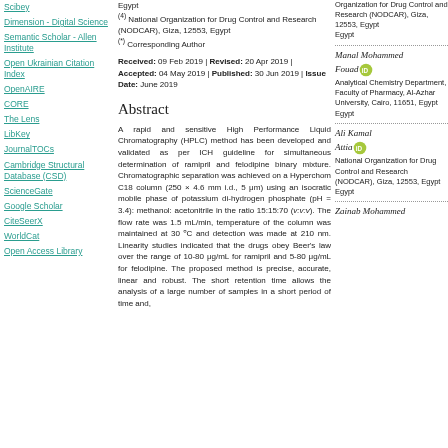Scibey
Dimension - Digital Science
Semantic Scholar - Allen Institute
Open Ukrainian Citation Index
OpenAIRE
CORE
The Lens
LibKey
JournalTOCs
Cambridge Structural Database (CSD)
ScienceGate
Google Scholar
CiteSeerX
WorldCat
Open Access Library
Egypt
(4) National Organization for Drug Control and Research (NODCAR), Giza, 12553, Egypt
(*) Corresponding Author
Received: 09 Feb 2019 | Revised: 20 Apr 2019 | Accepted: 04 May 2019 | Published: 30 Jun 2019 | Issue Date: June 2019
Abstract
A rapid and sensitive High Performance Liquid Chromatography (HPLC) method has been developed and validated as per ICH guideline for simultaneous determination of ramipril and felodipine binary mixture. Chromatographic separation was achieved on a Hyperchom C18 column (250 × 4.6 mm i.d., 5 μm) using an isocratic mobile phase of potassium di-hydrogen phosphate (pH = 3.4): methanol: acetonitrile in the ratio 15:15:70 (v:v:v). The flow rate was 1.5 mL/min, temperature of the column was maintained at 30 ºC and detection was made at 210 nm. Linearity studies indicated that the drugs obey Beer's law over the range of 10-80 μg/mL for ramipril and 5-80 μg/mL for felodipine. The proposed method is precise, accurate, linear and robust. The short retention time allows the analysis of a large number of samples in a short period of time and,
Organization for Drug Control and Research (NODCAR), Giza, 12553, Egypt
Egypt
Manal Mohammed
Fouad
Analytical Chemistry Department, Faculty of Pharmacy, Al-Azhar University, Cairo, 11651, Egypt
Egypt
Ali Kamal
Attia
National Organization for Drug Control and Research (NODCAR), Giza, 12553, Egypt
Egypt
Zainab Mohammed